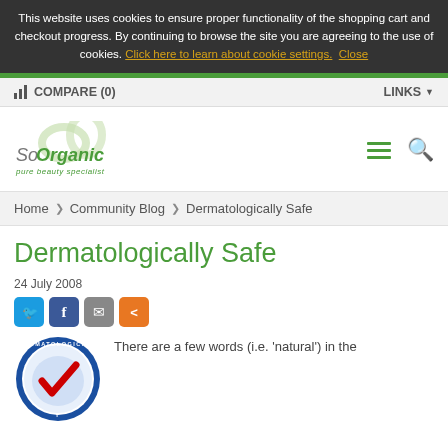This website uses cookies to ensure proper functionality of the shopping cart and checkout progress. By continuing to browse the site you are agreeing to the use of cookies. Click here to learn about cookie settings. Close
COMPARE (0)
LINKS
[Figure (logo): SoOrganic pure beauty specialist logo with green leaf graphic]
Home > Community Blog > Dermatologically Safe
Dermatologically Safe
24 July 2008
[Figure (illustration): Social share buttons: Twitter, Facebook, Email, Share]
[Figure (illustration): Circular Dermatologically Safe certification badge with blue border and red/blue checkmark]
There are a few words (i.e. 'natural') in the